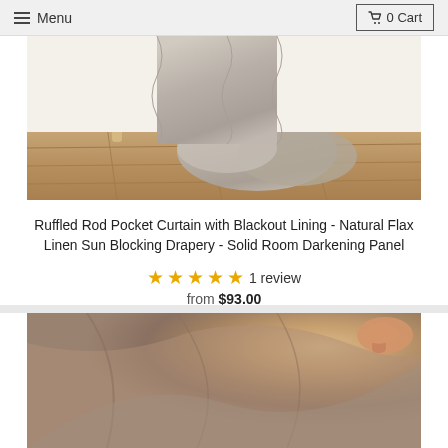Menu  0 Cart
[Figure (photo): Bottom portion of a linen curtain draped on a wooden floor with chair legs visible in the background, natural light setting]
Ruffled Rod Pocket Curtain with Blackout Lining - Natural Flax Linen Sun Blocking Drapery - Solid Room Darkening Panel
★★★★★ 1 review
from $93.00
[Figure (photo): Close-up of a hand holding folded linen/flax fabric showing both sides of the curtain material, beige/taupe color]